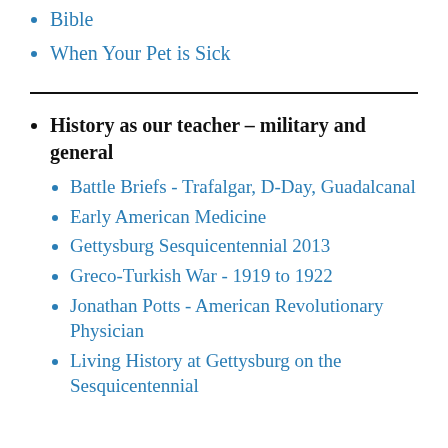Bible
When Your Pet is Sick
History as our teacher – military and general
Battle Briefs - Trafalgar, D-Day, Guadalcanal
Early American Medicine
Gettysburg Sesquicentennial 2013
Greco-Turkish War - 1919 to 1922
Jonathan Potts - American Revolutionary Physician
Living History at Gettysburg on the Sesquicentennial